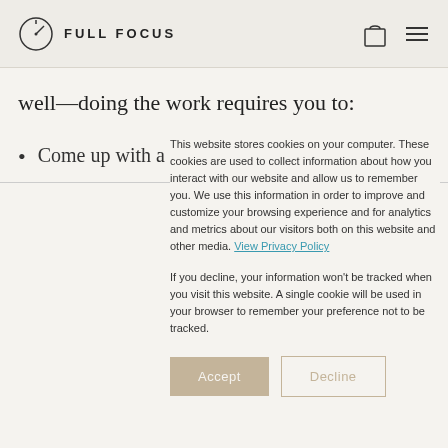FULL FOCUS
well—doing the work requires you to:
Come up with a great idea
This website stores cookies on your computer. These cookies are used to collect information about how you interact with our website and allow us to remember you. We use this information in order to improve and customize your browsing experience and for analytics and metrics about our visitors both on this website and other media. View Privacy Policy
If you decline, your information won't be tracked when you visit this website. A single cookie will be used in your browser to remember your preference not to be tracked.
Accept  Decline